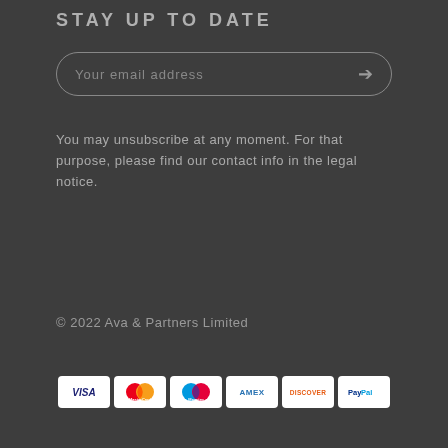STAY UP TO DATE
Your email address
You may unsubscribe at any moment. For that purpose, please find our contact info in the legal notice.
© 2022 Ava & Partners Limited
[Figure (other): Payment method icons: VISA, MasterCard, Maestro, AMEX, Discover, PayPal]